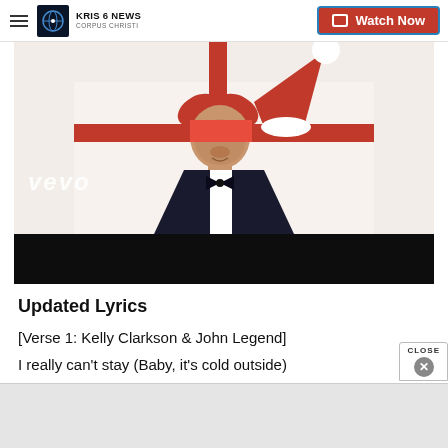KRIS 6 NEWS CORPUS CHRISTI | Watch Now
[Figure (photo): Screenshot of a music video thumbnail on Vevo showing a man in tuxedo with Santa hat, red bow/gift, black bar below with video controls]
Updated Lyrics
[Verse 1: Kelly Clarkson & John Legend]
I really can't stay (Baby, it's cold outside)